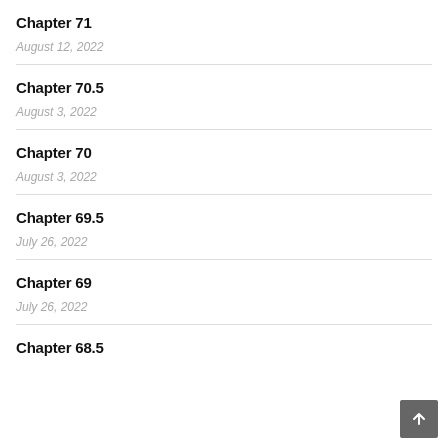Chapter 71
August 12, 2022
Chapter 70.5
August 3, 2022
Chapter 70
August 3, 2022
Chapter 69.5
July 26, 2022
Chapter 69
July 26, 2022
Chapter 68.5